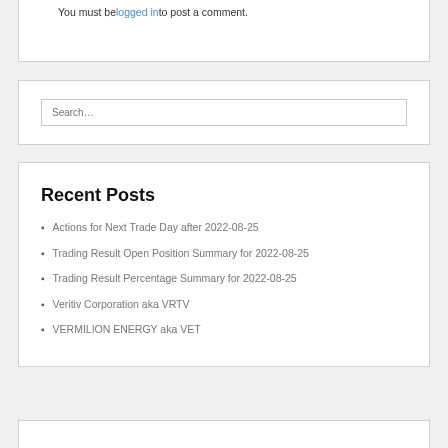You must be logged in to post a comment.
Recent Posts
Actions for Next Trade Day after 2022-08-25
Trading Result Open Position Summary for 2022-08-25
Trading Result Percentage Summary for 2022-08-25
Veritiv Corporation aka VRTV
VERMILION ENERGY aka VET